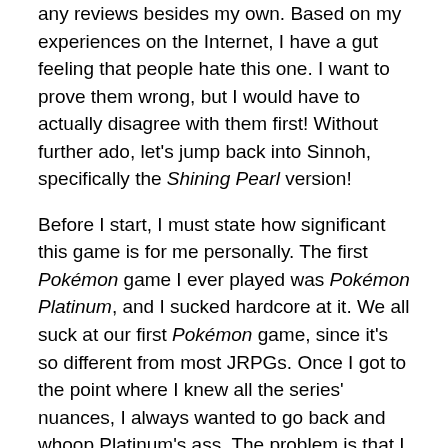any reviews besides my own. Based on my experiences on the Internet, I have a gut feeling that people hate this one. I want to prove them wrong, but I would have to actually disagree with them first! Without further ado, let's jump back into Sinnoh, specifically the Shining Pearl version!
Before I start, I must state how significant this game is for me personally. The first Pokémon game I ever played was Pokémon Platinum, and I sucked hardcore at it. We all suck at our first Pokémon game, since it's so different from most JRPGs. Once I got to the point where I knew all the series' nuances, I always wanted to go back and whoop Platinum's ass. The problem is that I lost my copy. As such, this remake is FINALLY my chance to redeem myself in Sinnoh!
In the fourth generation of Pokémon, your trainer is—as per usual—given a Pokédex and a free starter. Also as per usual, you have to complete the professor's somehow empty Pokédex. However, you and your friends end up having a run-in with Team Galactic, led by Cyrus. He wants to rewrite